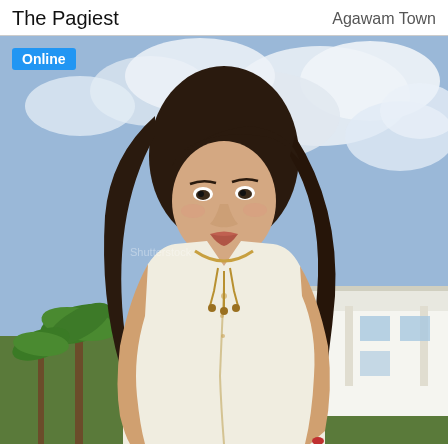The Pagiest    Agawam Town
[Figure (photo): A woman with long dark wavy hair wearing a white embroidered sleeveless dress with a gold necklace/tassel, standing outdoors with a cloudy blue sky, palm trees, and a white house in the background. An 'Online' badge appears in the top-left corner of the photo.]